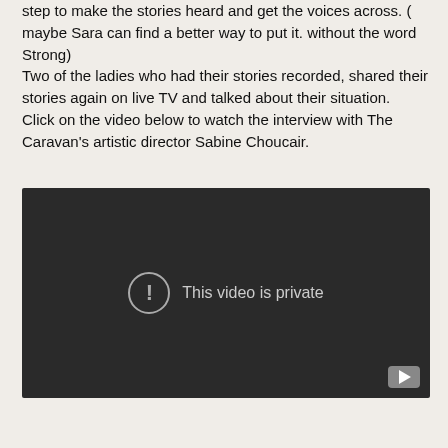step to make the stories heard and get the voices across. ( maybe Sara can find a better way to put it. without the word Strong)
Two of the ladies who had their stories recorded, shared their stories again on live TV and talked about their situation.
Click on the video below to watch the interview with The Caravan's artistic director Sabine Choucair.
[Figure (screenshot): Embedded video player showing 'This video is private' error message on a dark background, with a YouTube icon in the bottom right corner.]
...